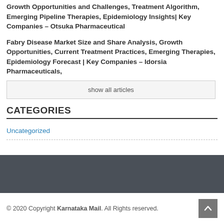Growth Opportunities and Challenges, Treatment Algorithm, Emerging Pipeline Therapies, Epidemiology Insights| Key Companies – Otsuka Pharmaceutical
Fabry Disease Market Size and Share Analysis, Growth Opportunities, Current Treatment Practices, Emerging Therapies, Epidemiology Forecast | Key Companies – Idorsia Pharmaceuticals,
show all articles
CATEGORIES
Uncategorized
© 2020 Copyright Karnataka Mail. All Rights reserved.